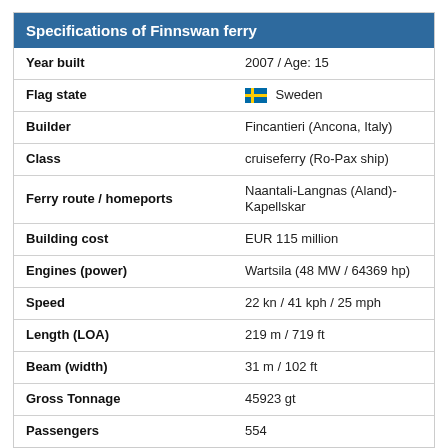Specifications of Finnswan ferry
| Attribute | Value |
| --- | --- |
| Year built | 2007  /  Age: 15 |
| Flag state | Sweden |
| Builder | Fincantieri (Ancona, Italy) |
| Class | cruiseferry (Ro-Pax ship) |
| Ferry route / homeports | Naantali-Langnas (Aland)-Kapellskar |
| Building cost | EUR 115 million |
| Engines (power) | Wartsila (48 MW / 64369 hp) |
| Speed | 22 kn / 41 kph / 25 mph |
| Length (LOA) | 219 m / 719 ft |
| Beam (width) | 31 m / 102 ft |
| Gross Tonnage | 45923 gt |
| Passengers | 554 |